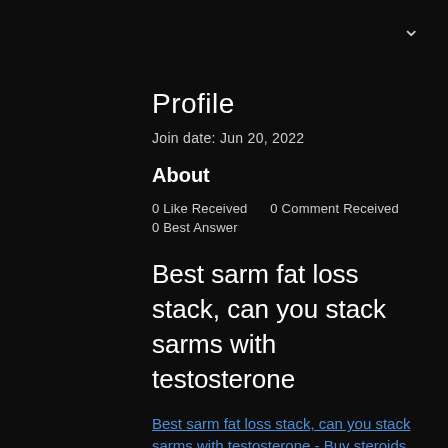Profile
Join date: Jun 20, 2022
About
0 Like Received    0 Comment Received
0 Best Answer
Best sarm fat loss stack, can you stack sarms with testosterone
Best sarm fat loss stack, can you stack sarms with testosterone - Buy steroids online